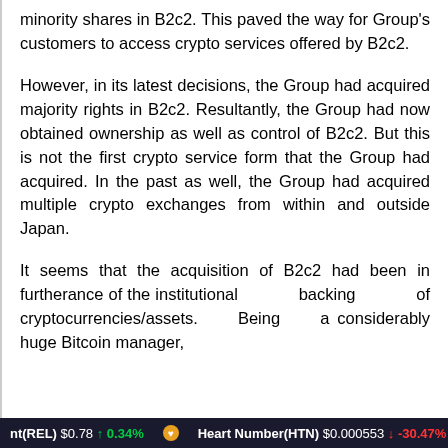minority shares in B2c2. This paved the way for Group's customers to access crypto services offered by B2c2.
However, in its latest decisions, the Group had acquired majority rights in B2c2. Resultantly, the Group had now obtained ownership as well as control of B2c2. But this is not the first crypto service form that the Group had acquired. In the past as well, the Group had acquired multiple crypto exchanges from within and outside Japan.
It seems that the acquisition of B2c2 had been in furtherance of the institutional backing of cryptocurrencies/assets. Being a considerably huge Bitcoin manager,
nt(REL) $0.78 ↑ 0.34%   Heart Number(HTN) $0.000553 ↓ -30.47%